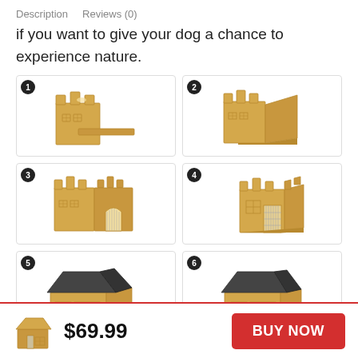Description   Reviews (0)
if you want to give your dog a chance to experience nature.
[Figure (illustration): Step 1: Flat wood panels for dog house laid out, partially assembled back wall with decorative castle-top cutout]
[Figure (illustration): Step 2: Two wood panels joined at a corner forming an L-shape with castle-top decorative edges]
[Figure (illustration): Step 3: Three walls assembled with arched wire door/gate opening visible, castle-top silhouette]
[Figure (illustration): Step 4: Four walls fully assembled box structure with wire gate door installed and window cutouts]
[Figure (illustration): Step 5: Completed dog house with dark grey roof installed, window cutouts and wire door, natural wood]
[Figure (illustration): Step 6: Completed dog house from slightly different angle with dark grey roof, window and wire door]
[Figure (illustration): Small dog house icon thumbnail]
$69.99
BUY NOW